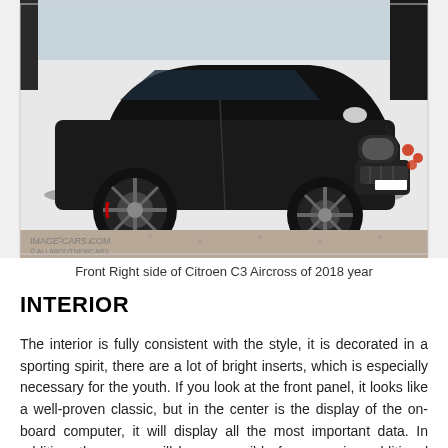[Figure (photo): Front right side view of a black Citroen C3 Aircross (2018 year) parked on a gravel driveway in front of a white wall, with a watermark reading IMAGE-CARS.COM and © ALLABOUTNEWCARS]
Front Right side of Citroen C3 Aircross of 2018 year
INTERIOR
The interior is fully consistent with the style, it is decorated in a sporting spirit, there are a lot of bright inserts, which is especially necessary for the youth. If you look at the front panel, it looks like a well-proven classic, but in the center is the display of the on-board computer, it will display all the most important data. In addition, the screen will be responsible for managing additional options, it will display an image from the cameras,